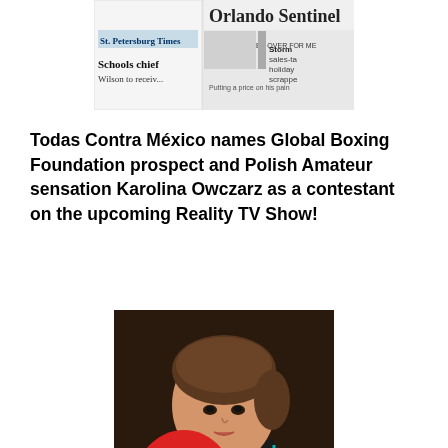[Figure (photo): Partial view of newspaper front pages including Orlando Sentinel and St. Petersburg Times with headline 'Schools chief Wilson to receiv...']
Todas Contra México names Global Boxing Foundation prospect and Polish Amateur sensation Karolina Owczarz as a contestant on the upcoming Reality TV Show!
[Figure (photo): Young woman with brown hair in a boxing pose holding large red Everlast boxing gloves, wearing a black sleeveless top with teal trim]